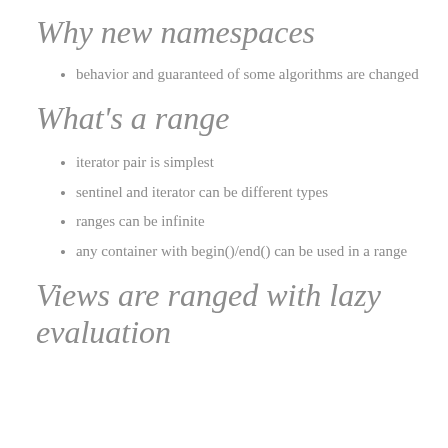Why new namespaces
behavior and guaranteed of some algorithms are changed
What's a range
iterator pair is simplest
sentinel and iterator can be different types
ranges can be infinite
any container with begin()/end() can be used in a range
Views are ranged with lazy evaluation